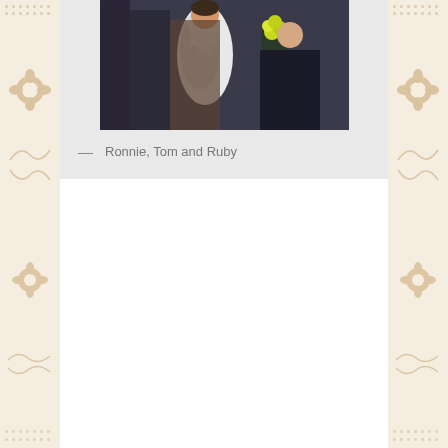[Figure (photo): A photograph of three people (Ronnie, Tom and Ruby) at what appears to be an event. The subjects are wearing costumes including a white feather boa and yellow flowers.]
Ronnie, Tom and Ruby